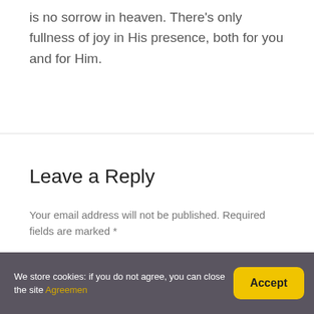is no sorrow in heaven. There's only fullness of joy in His presence, both for you and for Him.
Leave a Reply
Your email address will not be published. Required fields are marked *
Message
We store cookies: if you do not agree, you can close the site Agreement